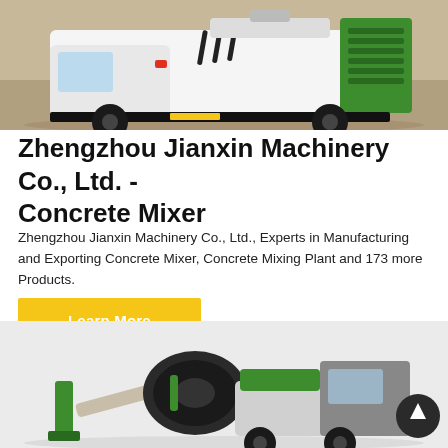[Figure (photo): White and green concrete mixer truck on a sandy/dirt construction site background, rear three-quarter view]
Zhengzhou Jianxin Machinery Co., Ltd. - Concrete Mixer
Zhengzhou Jianxin Machinery Co., Ltd., Experts in Manufacturing and Exporting Concrete Mixer, Concrete Mixing Plant and 173 more Products.
Learn More
[Figure (photo): Green and white concrete mixer machine on a light grey background, showing drum, chute, and frame components]